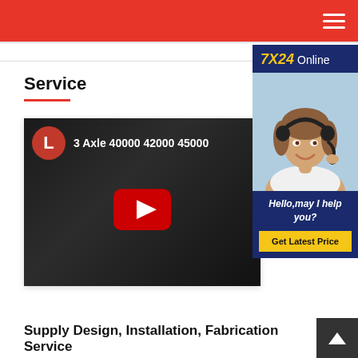Navigation header with hamburger menu
Service
[Figure (screenshot): YouTube video thumbnail showing '3 Axle 40000 42000 45000' with red play button and channel avatar 'L' on dark industrial background]
[Figure (photo): 7X24 Online chat widget with female customer service agent wearing headset, caption 'Hello, may I help you?' and 'Get Latest Price' button on dark blue background]
Supply Design, Installation, Fabrication Service